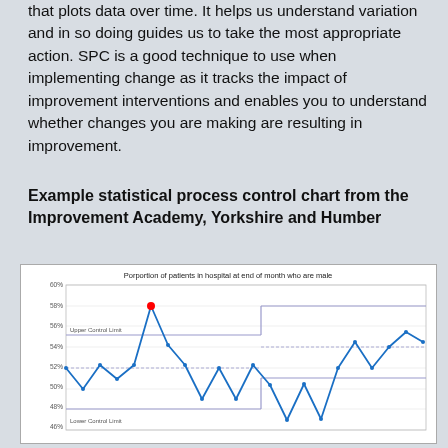that plots data over time. It helps us understand variation and in so doing guides us to take the most appropriate action. SPC is a good technique to use when implementing change as it tracks the impact of improvement interventions and enables you to understand whether changes you are making are resulting in improvement.
Example statistical process control chart from the Improvement Academy, Yorkshire and Humber
[Figure (continuous-plot): SPC line chart showing proportion of male patients over time with Upper Control Limit (~55.5%), Lower Control Limit (~48.5%), a central line, and one red outlier point at ~58%. The data line fluctuates between ~49% and ~58%, with control limits shifting to new values partway through the series.]